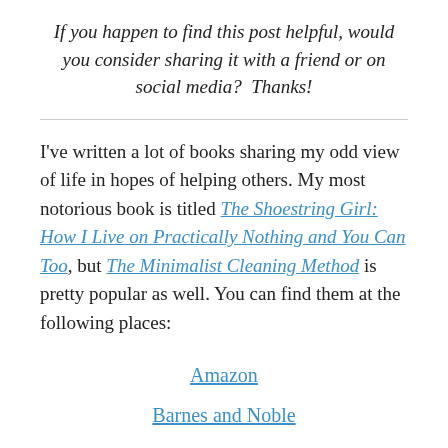If you happen to find this post helpful, would you consider sharing it with a friend or on social media?  Thanks!
I've written a lot of books sharing my odd view of life in hopes of helping others. My most notorious book is titled The Shoestring Girl: How I Live on Practically Nothing and You Can Too, but The Minimalist Cleaning Method is pretty popular as well. You can find them at the following places:
Amazon
Barnes and Noble
Apple iBooks